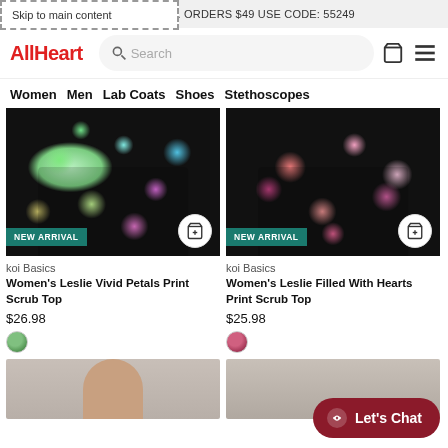Skip to main content
S. ORDERS $49 USE CODE: 55249
AllHeart
Search
Women
Men
Lab Coats
Shoes
Stethoscopes
koi Basics
Women's Leslie Vivid Petals Print Scrub Top
$26.98
koi Basics
Women's Leslie Filled With Hearts Print Scrub Top
$25.98
Let's Chat